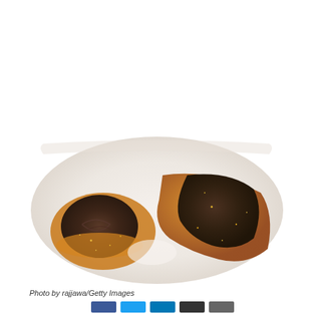[Figure (photo): Close-up photo of amber/orange cannabis concentrate (shatter or wax) in a glass jar, viewed from above, showing two dark brown and golden orange resinous pieces against a white background.]
Photo by rajjawa/Getty Images